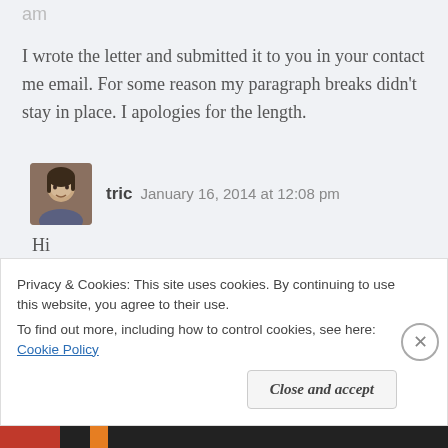am
I wrote the letter and submitted it to you in your contact me email. For some reason my paragraph breaks didn’t stay in place. I apologies for the length.
tric   January 16, 2014 at 12:08 pm
Hi
Privacy & Cookies: This site uses cookies. By continuing to use this website, you agree to their use.
To find out more, including how to control cookies, see here: Cookie Policy
Close and accept